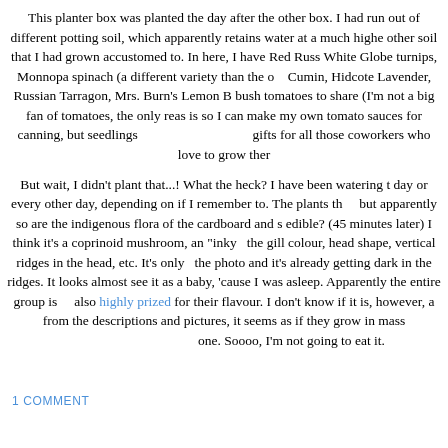This planter box was planted the day after the other box. I had run out of different potting soil, which apparently retains water at a much higher rate than the other soil that I had grown accustomed to. In here, I have Red Russian Kale, White Globe turnips, Monnopa spinach (a different variety than the other box), Cumin, Hidcote Lavender, Russian Tarragon, Mrs. Burn's Lemon Basil, and bush tomatoes to share (I'm not a big fan of tomatoes, the only reason I grow them is so I can make my own tomato sauces for canning, but seedlings also make great gifts for all those coworkers who love to grow them).
But wait, I didn't plant that...! What the heck? I have been watering this every day or every other day, depending on if I remember to. The plants that I planted, but apparently so are the indigenous flora of the cardboard and soil. Is it edible? (45 minutes later) I think it's a coprinoid mushroom, an "inky cap", given the gill colour, head shape, vertical ridges in the head, etc. It's only visible in the photo and it's already getting dark in the ridges. It looks almost too old. I didn't see it as a baby, 'cause I was asleep. Apparently the entire group is edible and also highly prized for their flavour. I don't know if it is, however, a lone one: from the descriptions and pictures, it seems as if they grow in masses. I only see one. Soooo, I'm not going to eat it.
1 COMMENT